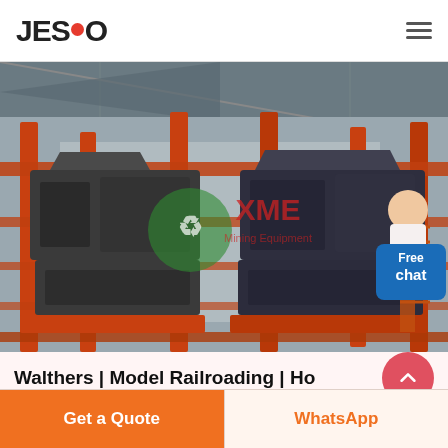JESCO
[Figure (photo): Industrial machinery/equipment (crushers or processing machines) on orange metal scaffolding inside a large industrial shed. Green recycling logo watermark and XME text overlay visible on image.]
Walthers | Model Railroading | Ho
Get a Quote
WhatsApp